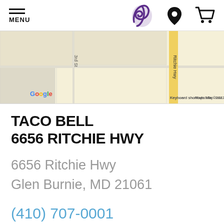MENU | Taco Bell logo | Location icon | Cart icon
[Figure (map): Google Maps snippet showing intersection near 6656 Ritchie Hwy, Glen Burnie, MD. Shows 3rd St and Ritchie Hwy labels, Google logo, Keyboard shortcuts, Map data ©2022 Te...]
TACO BELL
6656 RITCHIE HWY
6656 Ritchie Hwy
Glen Burnie, MD 21061
(410) 707-0001